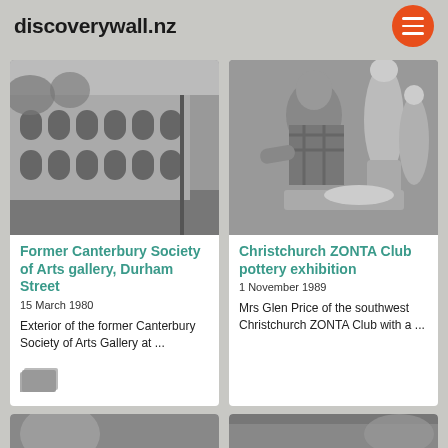discoverywall.nz
[Figure (photo): Black and white photograph of the exterior of a historic building with arched windows along Durham Street]
Former Canterbury Society of Arts gallery, Durham Street
15 March 1980
Exterior of the former Canterbury Society of Arts Gallery at ...
[Figure (photo): Black and white photograph of Mrs Glen Price with pottery sculptures at the Christchurch ZONTA Club pottery exhibition]
Christchurch ZONTA Club pottery exhibition
1 November 1989
Mrs Glen Price of the southwest Christchurch ZONTA Club with a ...
[Figure (photo): Partial black and white photograph at the bottom left, partially visible]
[Figure (photo): Partial black and white photograph at the bottom right, partially visible]